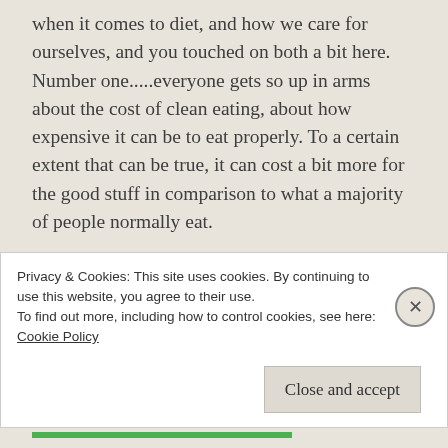when it comes to diet, and how we care for ourselves, and you touched on both a bit here. Number one.....everyone gets so up in arms about the cost of clean eating, about how expensive it can be to eat properly. To a certain extent that can be true, it can cost a bit more for the good stuff in comparison to what a majority of people normally eat.

HOWEVER, I think there is an important factor that tends to be overlooked when calculating
Privacy & Cookies: This site uses cookies. By continuing to use this website, you agree to their use.
To find out more, including how to control cookies, see here:
Cookie Policy